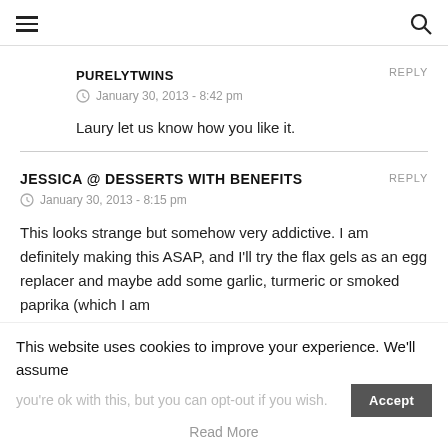≡  🔍
PURELYTWINS  REPLY
⊙ January 30, 2013 - 8:42 pm
Laury let us know how you like it.
JESSICA @ DESSERTS WITH BENEFITS  REPLY
⊙ January 30, 2013 - 8:15 pm
This looks strange but somehow very addictive. I am definitely making this ASAP, and I'll try the flax gels as an egg replacer and maybe add some garlic, turmeric or smoked paprika (which I am
This website uses cookies to improve your experience. We'll assume you're ok with this, but you can opt-out if you wish.
Accept
Read More